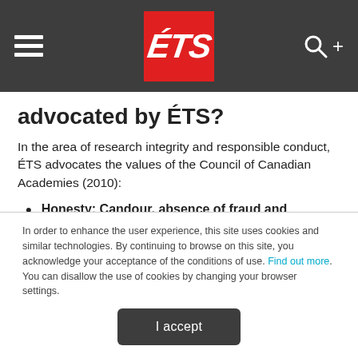ÉTS [navigation bar with logo, hamburger menu, and search icon]
advocated by ÉTS?
In the area of research integrity and responsible conduct, ÉTS advocates the values of the Council of Canadian Academies (2010):
Honesty: Candour, absence of fraud and deception
In order to enhance the user experience, this site uses cookies and similar technologies. By continuing to browse on this site, you acknowledge your acceptance of the conditions of use. Find out more. You can disallow the use of cookies by changing your browser settings.